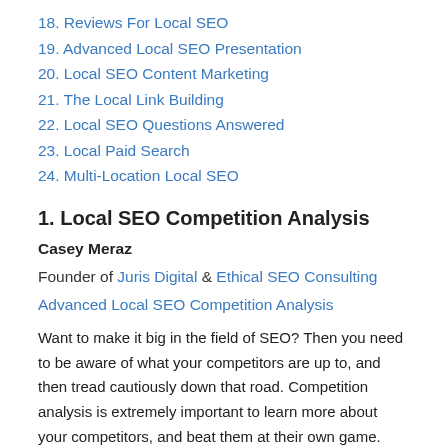18. Reviews For Local SEO
19. Advanced Local SEO Presentation
20. Local SEO Content Marketing
21. The Local Link Building
22. Local SEO Questions Answered
23. Local Paid Search
24. Multi-Location Local SEO
1. Local SEO Competition Analysis
Casey Meraz
Founder of Juris Digital & Ethical SEO Consulting
Advanced Local SEO Competition Analysis
Want to make it big in the field of SEO? Then you need to be aware of what your competitors are up to, and then tread cautiously down that road. Competition analysis is extremely important to learn more about your competitors, and beat them at their own game. This post by Casey